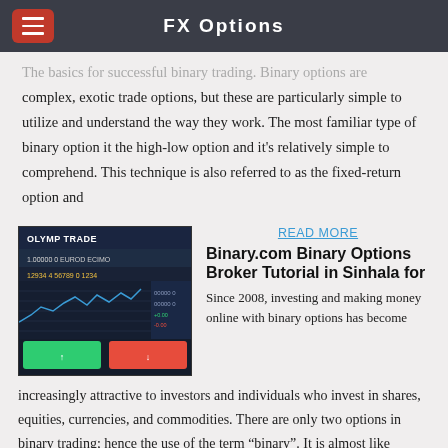FX Options
The basics for successful binary trading. Binary options are complex, exotic trade options, but these are particularly simple to utilize and understand the way they work. The most familiar type of binary option it the high-low option and it's relatively simple to comprehend. This technique is also referred to as the fixed-return option and
[Figure (screenshot): Screenshot of Olymp Trade trading platform showing charts and trade interface on dark background]
READ MORE
Binary.com Binary Options Broker Tutorial in Sinhala for
Since 2008, investing and making money online with binary options has become increasingly attractive to investors and individuals who invest in shares, equities, currencies, and commodities. There are only two options in binary trading; hence the use of the term "binary". It is almost like placing a bet, in that you are wagering that an asset will